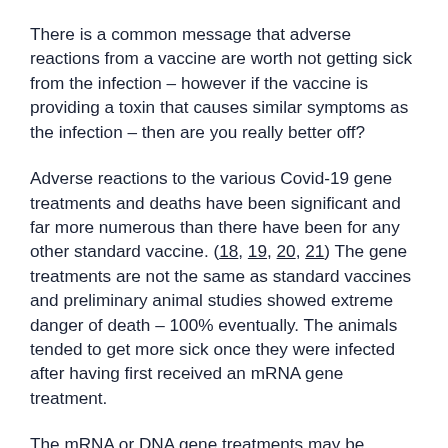There is a common message that adverse reactions from a vaccine are worth not getting sick from the infection – however if the vaccine is providing a toxin that causes similar symptoms as the infection – then are you really better off?
Adverse reactions to the various Covid-19 gene treatments and deaths have been significant and far more numerous than there have been for any other standard vaccine. (18, 19, 20, 21) The gene treatments are not the same as standard vaccines and preliminary animal studies showed extreme danger of death – 100% eventually. The animals tended to get more sick once they were infected after having first received an mRNA gene treatment.
The mRNA or DNA gene treatments may be causing the body's immune system to ignore the pathogen, as if it